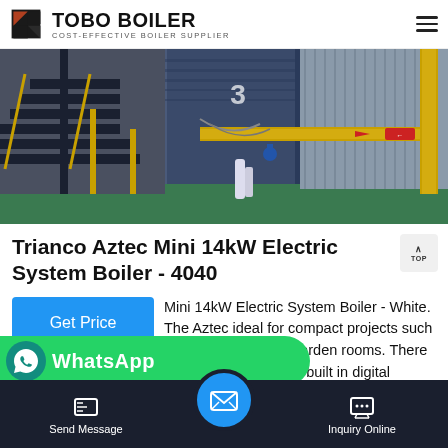TOBO BOILER — COST-EFFECTIVE BOILER SUPPLIER
[Figure (photo): Industrial boiler facility interior showing large blue boiler equipment with yellow pipework, metal staircases, and industrial fittings on a green floor.]
Trianco Aztec Mini 14kW Electric System Boiler - 4040
Mini 14kW Electric System Boiler - White. The Aztec ideal for compact projects such as flats, cabins and garden rooms. There is no need for extensive pipework or flue kit a built in digital programmer.
Send Message | Inquiry Online